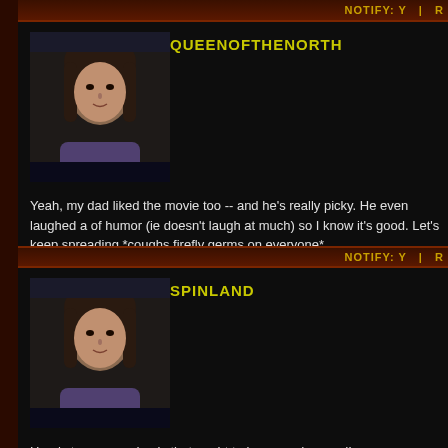NOTIFY: Y  |  R
[Figure (photo): Avatar photo of a woman with dark hair]
QUEENOFTHENORTH
Yeah, my dad liked the movie too -- and he's really picky. He even laughed a of humor (ie doesn't laugh at much) so I know it's good. Let's keep spreading *coughs firefly germs on everyone*

I give to you the Seeker of Serenity, the Valkyrie Warrior, the Gourmet Cook a
NOTIFY: Y  |  R
[Figure (photo): Avatar photo of a woman with dark hair]
SPINLAND
Here's to one pandemic that ought to be spread around!

~ ~ ~ ~ ~ ~ ~ ~ ~ ~ ~ ~ ~ ~ ~ ~ ~ ~ ~ ~ ~ ~ ~
"That's what governments are for, [to] get in a man's way." -- Malcolm Reyno